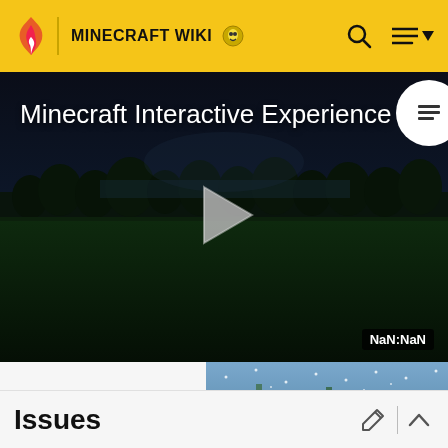MINECRAFT WIKI
[Figure (screenshot): Minecraft Interactive Experience video player showing a dark nighttime Minecraft landscape with trees and grass. Large white play button triangle in center. Title text 'Minecraft Interactive Experience' in white at top left. Timer showing NaN:NaN at bottom right.]
[Figure (photo): Aerial view of a Minecraft village with snow falling, showing white snow-covered rooftops and buildings.]
Snow falling on a village.
Issues